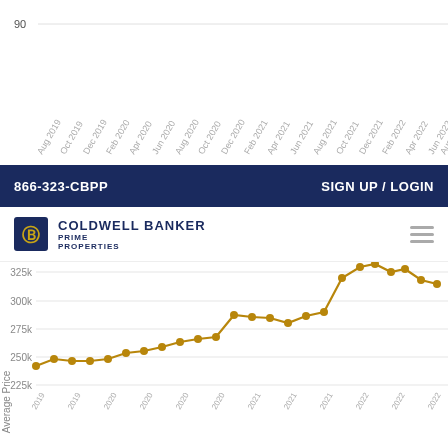[Figure (line-chart): Average Price over time (2019-2022)]
866-323-CBPP    SIGN UP / LOGIN
[Figure (logo): Coldwell Banker Prime Properties logo]
[Figure (line-chart): Average Price 2019-2022 (main chart)]